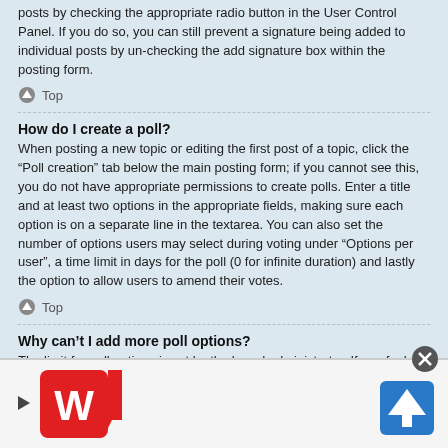form to add your signature. You can also add a signature by default to all your posts by checking the appropriate radio button in the User Control Panel. If you do so, you can still prevent a signature being added to individual posts by un-checking the add signature box within the posting form.
Top
How do I create a poll?
When posting a new topic or editing the first post of a topic, click the “Poll creation” tab below the main posting form; if you cannot see this, you do not have appropriate permissions to create polls. Enter a title and at least two options in the appropriate fields, making sure each option is on a separate line in the textarea. You can also set the number of options users may select during voting under “Options per user”, a time limit in days for the poll (0 for infinite duration) and lastly the option to allow users to amend their votes.
Top
Why can’t I add more poll options?
The limit for poll options is set by the board administrator. If you feel you need to add more options to your poll than the allowed amount, contact the board administrator.
[Figure (other): Advertisement bar with Walgreens logo and navigation icon]